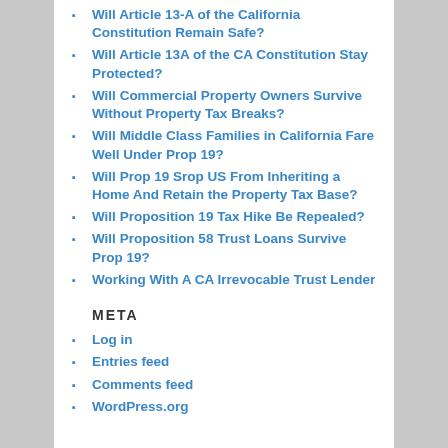Will Article 13-A of the California Constitution Remain Safe?
Will Article 13A of the CA Constitution Stay Protected?
Will Commercial Property Owners Survive Without Property Tax Breaks?
Will Middle Class Families in California Fare Well Under Prop 19?
Will Prop 19 Srop US From Inheriting a Home And Retain the Property Tax Base?
Will Proposition 19 Tax Hike Be Repealed?
Will Proposition 58 Trust Loans Survive Prop 19?
Working With A CA Irrevocable Trust Lender
META
Log in
Entries feed
Comments feed
WordPress.org